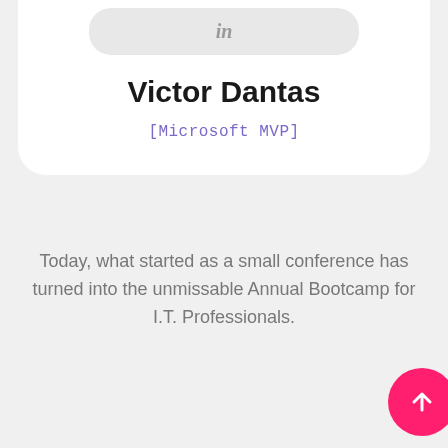[Figure (logo): LinkedIn 'in' button styled as a rounded pill button]
Victor Dantas
[Microsoft MVP]
Today, what started as a small conference has turned into the unmissable Annual Bootcamp for I.T. Professionals.